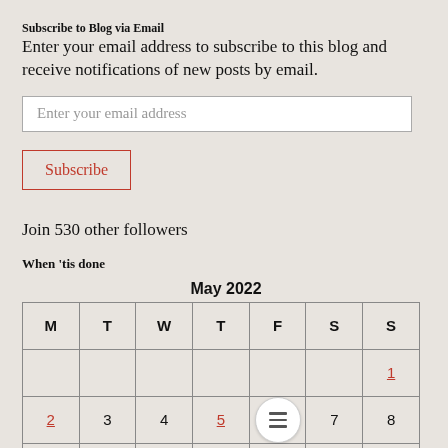Subscribe to Blog via Email
Enter your email address to subscribe to this blog and receive notifications of new posts by email.
Enter your email address
Subscribe
Join 530 other followers
When 'tis done
| M | T | W | T | F | S | S |
| --- | --- | --- | --- | --- | --- | --- |
|  |  |  |  |  |  | 1 |
| 2 | 3 | 4 | 5 | [menu] | 7 | 8 |
| 9 | 10 | 11 | 12 | 13 | 14 | 15 |